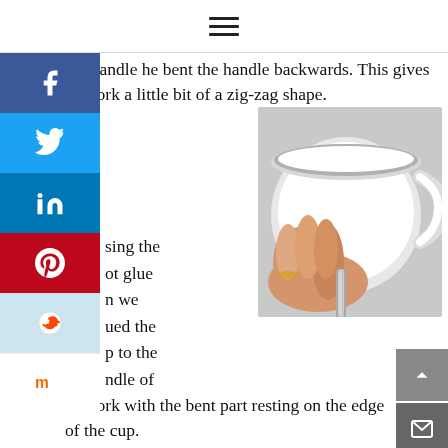≡ (hamburger menu icon)
the handle he bent the handle backwards. This gives the fork a little bit of a zig-zag shape.
[Figure (photo): A hand holding a white teacup from below, viewed from above. A silver fork handle rests against the edge of the cup at the bottom. The cup has a white handle on the right side.]
sing the ot glue n we ued the p to the ndle of
the fork with the bent part resting on the edge of the cup.